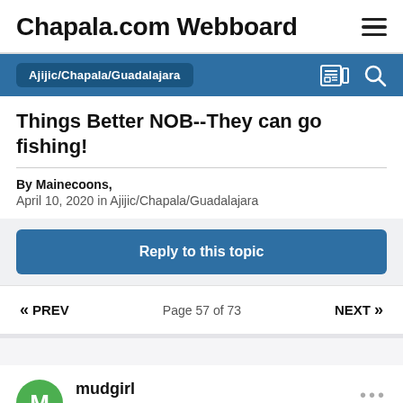Chapala.com Webboard
Ajijic/Chapala/Guadalajara
Things Better NOB--They can go fishing!
By Mainecoons,
April 10, 2020 in Ajijic/Chapala/Guadalajara
Reply to this topic
« PREV  Page 57 of 73  NEXT »
mudgirl
Posted January 15